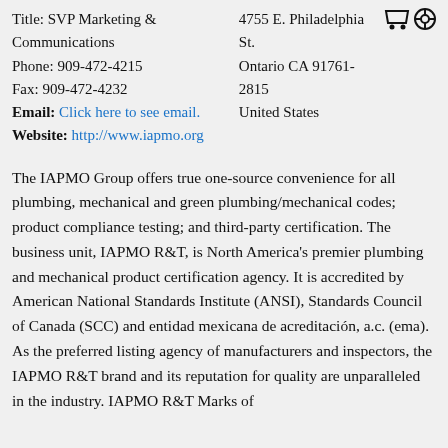Title: SVP Marketing & Communications
Phone: 909-472-4215
Fax: 909-472-4232
Email: Click here to see email.
Website: http://www.iapmo.org
4755 E. Philadelphia St.
Ontario CA 91761-2815
United States
The IAPMO Group offers true one-source convenience for all plumbing, mechanical and green plumbing/mechanical codes; product compliance testing; and third-party certification. The business unit, IAPMO R&T, is North America's premier plumbing and mechanical product certification agency. It is accredited by American National Standards Institute (ANSI), Standards Council of Canada (SCC) and entidad mexicana de acreditación, a.c. (ema). As the preferred listing agency of manufacturers and inspectors, the IAPMO R&T brand and its reputation for quality are unparalleled in the industry. IAPMO R&T Marks of